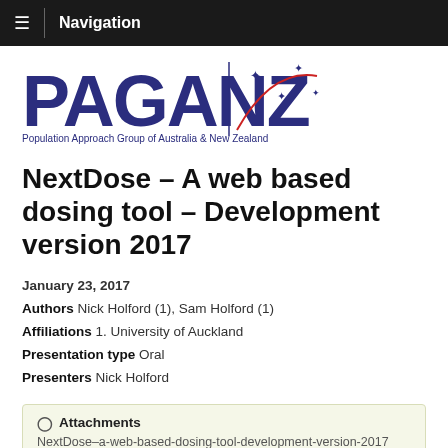Navigation
[Figure (logo): PAGANZ logo — Population Approach Group of Australia & New Zealand, with Southern Cross star constellation graphic and red arc]
NextDose – A web based dosing tool – Development version 2017
January 23, 2017
Authors Nick Holford (1), Sam Holford (1)
Affiliations 1. University of Auckland
Presentation type Oral
Presenters Nick Holford
Attachments NextDose–a-web-based-dosing-tool-development-version-2017